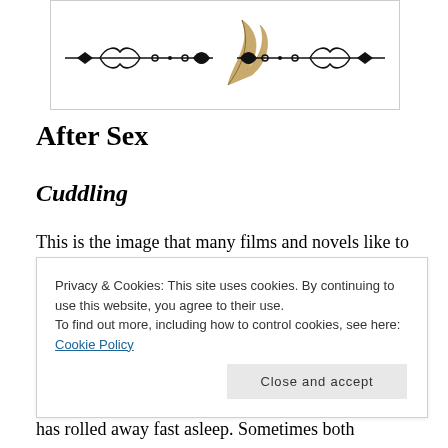[Figure (illustration): Decorative ornamental header with scrollwork and a quill pen logo in the center, inside a bordered box]
After Sex
Cuddling
This is the image that many films and novels like to show.  The loving couple, after their sexual encounter, snuggles up together.  Now speak to a
Privacy & Cookies: This site uses cookies. By continuing to use this website, you agree to their use.
To find out more, including how to control cookies, see here: Cookie Policy
has rolled away fast asleep. Sometimes both